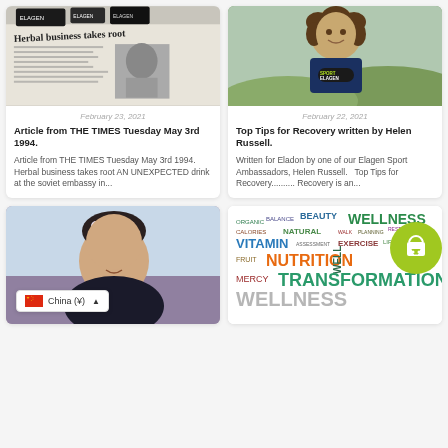[Figure (photo): Newspaper clipping showing headline 'Herbal business takes root' with a black and white photo of a person, and elagen product boxes on top]
[Figure (photo): Woman with curly hair wearing a navy Elagen Sport t-shirt standing in a green field outdoors]
February 23, 2021
Article from THE TIMES Tuesday May 3rd 1994.
Article from THE TIMES Tuesday May 3rd 1994. Herbal business takes root AN UNEXPECTED drink at the soviet embassy in...
February 22, 2021
Top Tips for Recovery written by Helen Russell.
Written for Eladon by one of our Elagen Sport Ambassadors, Helen Russell.   Top Tips for Recovery.......... Recovery is an...
[Figure (photo): Portrait photo of a woman with dark hair and a crown/floral headpiece]
[Figure (infographic): Wellness word cloud with words: BEAUTY, WELLNESS, NUTRITION, TRANSFORMATION, VITAMIN, EXERCISE, NATURAL, BALANCE, ORGANIC, CALORIES, WALK, EAT, FRUIT, MERCY, WELLBEING and a green circle with shopping bag icon]
China (¥)